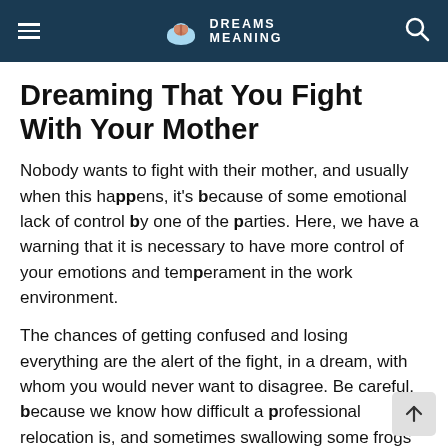DREAMS MEANING
Dreaming That You Fight With Your Mother
Nobody wants to fight with their mother, and usually when this happens, it's because of some emotional lack of control by one of the parties. Here, we have a warning that it is necessary to have more control of your emotions and temperament in the work environment.
The chances of getting confused and losing everything are the alert of the fight, in a dream, with whom you would never want to disagree. Be careful, because we know how difficult a professional relocation is, and sometimes swallowing some frogs is necessary for our maturation, as hard as it may seem.